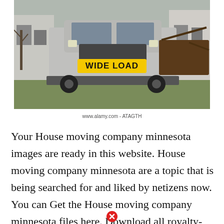[Figure (photo): A photograph of a large truck or heavy vehicle with a bright yellow 'WIDE LOAD' sign on its front, parked on a grassy field next to old white farm buildings and bare trees on an overcast day.]
www.alamy.com - ATAGTH
Your House moving company minnesota images are ready in this website. House moving company minnesota are a topic that is being searched for and liked by netizens now. You can Get the House moving company minnesota files here. Download all royalty-free photos and vectors.
[Figure (illustration): A red circle with a white X icon (close/error button) at the bottom center of the page.]